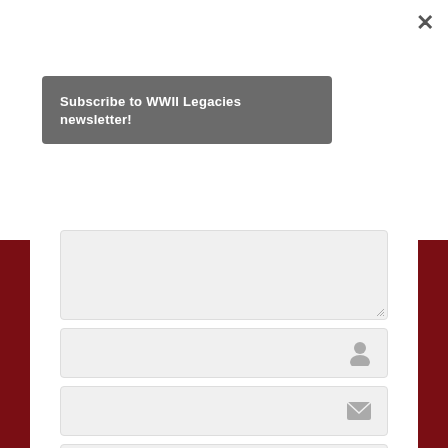×
Subscribe to WWII Legacies newsletter!
[Figure (screenshot): Web form with textarea and three input fields (name, email, website) with icons, and a submit button, on a page with dark red sidebars]